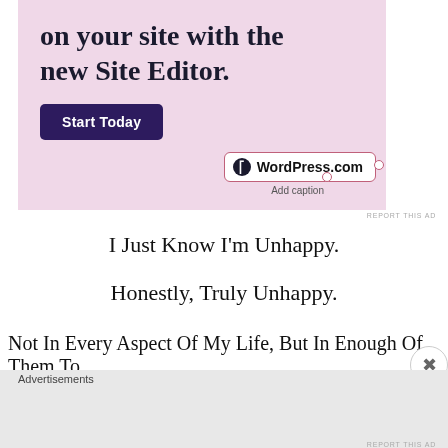[Figure (screenshot): WordPress.com advertisement banner with pink background showing text 'on your site with the new Site Editor.' with a dark purple 'Start Today' button and WordPress.com logo badge]
I Just Know I'm Unhappy.
Honestly, Truly Unhappy.
Not In Every Aspect Of My Life, But In Enough Of Them To
Advertisements
[Figure (screenshot): DuckDuckGo advertisement banner with orange background showing 'Search, browse, and email with more privacy. All in One Free App' with a phone mockup and DuckDuckGo logo]